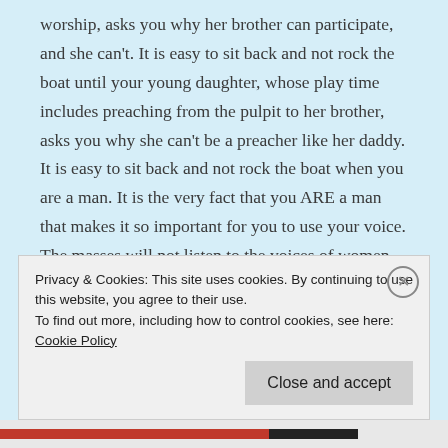worship, asks you why her brother can participate, and she can't. It is easy to sit back and not rock the boat until your young daughter, whose play time includes preaching from the pulpit to her brother, asks you why she can't be a preacher like her daddy. It is easy to sit back and not rock the boat when you are a man. It is the very fact that you ARE a man that makes it so important for you to use your voice. The masses will not listen to the voices of women. But they will listen to the voices of men. It is
Privacy & Cookies: This site uses cookies. By continuing to use this website, you agree to their use.
To find out more, including how to control cookies, see here: Cookie Policy
Close and accept